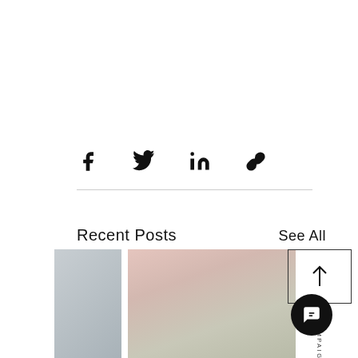[Figure (infographic): Social share icons row: Facebook, Twitter, LinkedIn, Link/chain icon]
Recent Posts
See All
[Figure (photo): Thumbnail of an outdoor or interior scene, grayscale/muted]
[Figure (photo): Fashion photo: two women in pastel blazers (pink and grey/sage), one with long black hair]
[Figure (infographic): Scroll-to-top button with upward arrow icon, with vertical text 'HFCAMPAIGN']
[Figure (infographic): Chat/message bubble button (dark circle with speech bubble icon)]